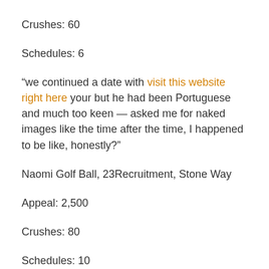Crushes: 60
Schedules: 6
“we continued a date with visit this website right here your but he had been Portuguese and much too keen — asked me for naked images like the time after the time, I happened to be like, honestly?”
Naomi Golf Ball, 23Recruitment, Stone Way
Appeal: 2,500
Crushes: 80
Schedules: 10
“Girls may do selfies but guys can’t. In the event he was actually, actually hot, if he previously a selfie, I’d say no. I don’t